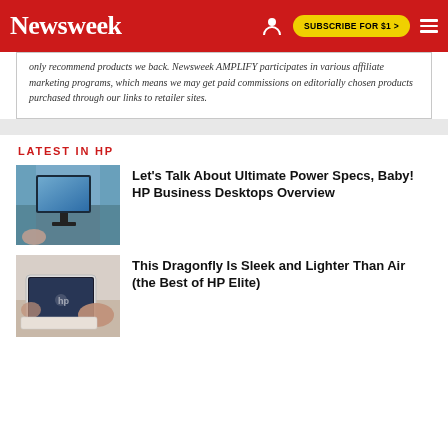Newsweek | SUBSCRIBE FOR $1 >
only recommend products we back. Newsweek AMPLIFY participates in various affiliate marketing programs, which means we may get paid commissions on editorially chosen products purchased through our links to retailer sites.
LATEST IN HP
[Figure (photo): HP monitor on a desk in a store or office setting]
Let's Talk About Ultimate Power Specs, Baby! HP Business Desktops Overview
[Figure (photo): Person holding an HP Dragonfly laptop]
This Dragonfly Is Sleek and Lighter Than Air (the Best of HP Elite)